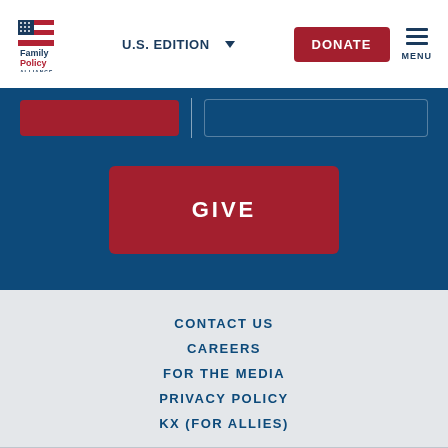[Figure (logo): Family Policy Alliance logo with American flag graphic and red/blue text]
U.S. EDITION
DONATE
MENU
GIVE
CONTACT US
CAREERS
FOR THE MEDIA
PRIVACY POLICY
KX (FOR ALLIES)